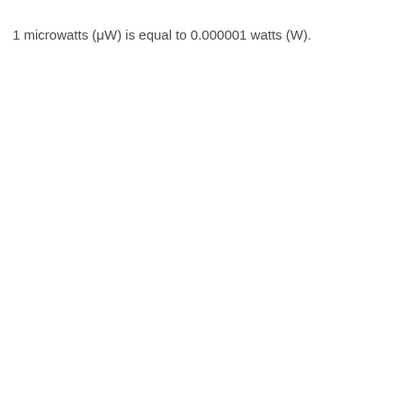1 microwatts (μW) is equal to 0.000001 watts (W).